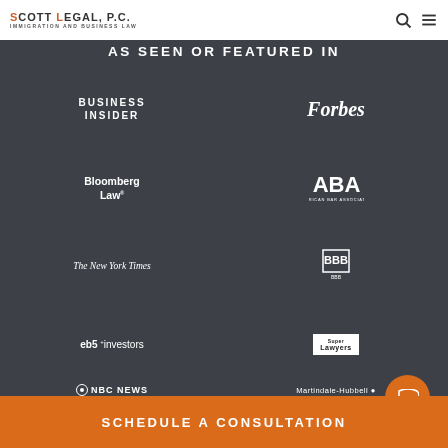SCOTT LEGAL, P.C. IMMIGRATION AND BUSINESS LAW
AS SEEN OR FEATURED IN
[Figure (logo): Business Insider logo - white text on dark background]
[Figure (logo): Forbes logo - white italic serif text]
[Figure (logo): Bloomberg Law logo]
[Figure (logo): ABA American Bar Association logo]
[Figure (logo): The New York Times logo]
[Figure (logo): BBB Better Business Bureau logo]
[Figure (logo): eb5 investors logo]
[Figure (logo): Super Lawyers logo]
[Figure (logo): NBC News logo]
[Figure (logo): Martindale-Hubbell logo]
SCHEDULE A CONSULTATION